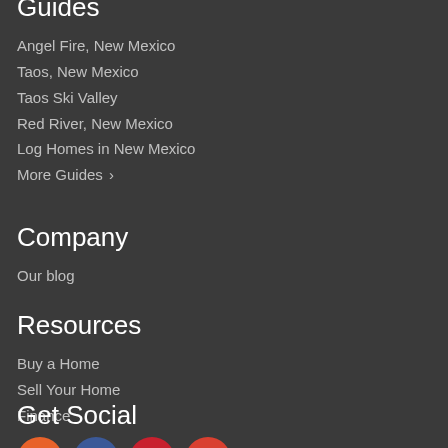Guides
Angel Fire, New Mexico
Taos, New Mexico
Taos Ski Valley
Red River, New Mexico
Log Homes in New Mexico
More Guides >
Company
Our blog
Resources
Buy a Home
Sell Your Home
Finance
Get Social
[Figure (infographic): Four social media icon circles: RSS (orange), Facebook (blue), Pinterest (red), Email (red)]